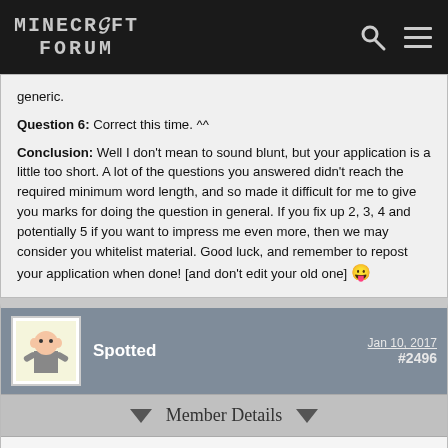MINECRAFT FORUM
generic.
Question 6: Correct this time. ^^
Conclusion: Well I don't mean to sound blunt, but your application is a little too short. A lot of the questions you answered didn't reach the required minimum word length, and so made it difficult for me to give you marks for doing the question in general. If you fix up 2, 3, 4 and potentially 5 if you want to impress me even more, then we may consider you whitelist material. Good luck, and remember to repost your application when done! [and don't edit your old one] 😛
Spotted  Jan 10, 2017  #2496
Member Details
1) What is your Minecraft username (or "IGN")?[/b]
loppy1...